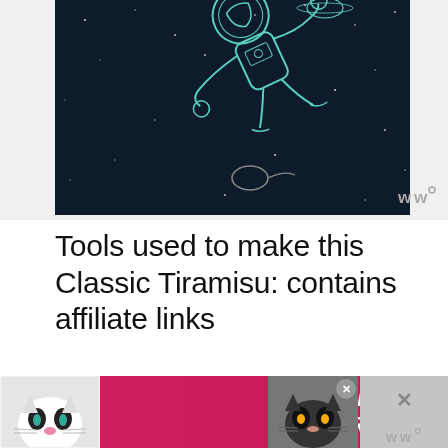[Figure (illustration): Illustration of an astronaut floating in space with stars, Saturn in the background, and a planet below, on a dark navy background. White line art style.]
Tools used to make this Classic Tiramisu: contains affiliate links
Pyrex Baking Dish with Lid
Hand Mixer
Mesh Strainer
[Figure (infographic): Advertisement banner with cats and text 'BEST FRIENDS FOREVER' on pink/red background]